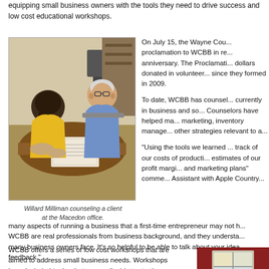equipping small business owners with the tools they need to drive success and low cost educational workshops.
[Figure (photo): Photo of Willard Milliman counseling a client at the Macedon office. Two people seated at a round table reviewing documents.]
Willard Milliman counseling a client at the Macedon office.
On July 15, the Wayne Cou... proclamation to WCBB in re... anniversary. The Proclamati... dollars donated in volunteer... since they formed in 2009.
To date, WCBB has counsel... currently in business and so... Counselors have helped ma... marketing, inventory manage... other strategies relevant to a...
"Using the tools we learned ... track of our costs of producti... estimates of our profit margi... and marketing plans" comme... Assistant with Apple Country...
many aspects of running a business that a first-time entrepreneur may not h... WCBB are real professionals from business background, and they understa... many business owners face. It's so helpful to be able to talk about your idea... feedback."
WCBB offers a series of low cost workshops that are aimed to address small business needs. Workshops have included topics that are applicable to starting a business such writing a business plan, marketing, legal issues and accounting. This fall, WCBB will be offering workshops with
[Figure (photo): Photo of a building interior with a window, taken from inside. Red/dark background visible.]